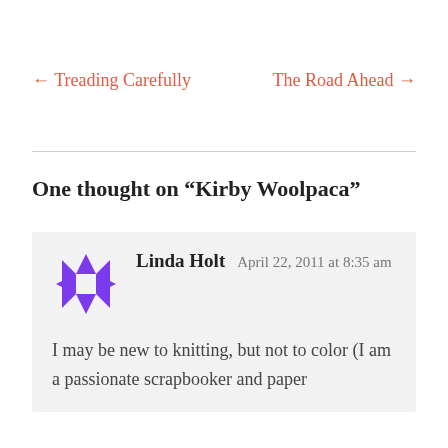← Treading Carefully
The Road Ahead →
One thought on “Kirby Woolpaca”
Linda Holt   April 22, 2011 at 8:35 am
I may be new to knitting, but not to color (I am a passionate scrapbooker and paper